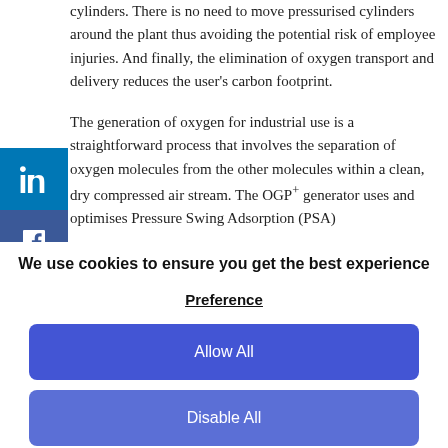cylinders. There is no need to move pressurised cylinders around the plant thus avoiding the potential risk of employee injuries. And finally, the elimination of oxygen transport and delivery reduces the user's carbon footprint.
The generation of oxygen for industrial use is a straightforward process that involves the separation of oxygen molecules from the other molecules within a clean, dry compressed air stream. The OGP+ generator uses and optimises Pressure Swing Adsorption (PSA)
We use cookies to ensure you get the best experience
Preference
Allow All
Disable All